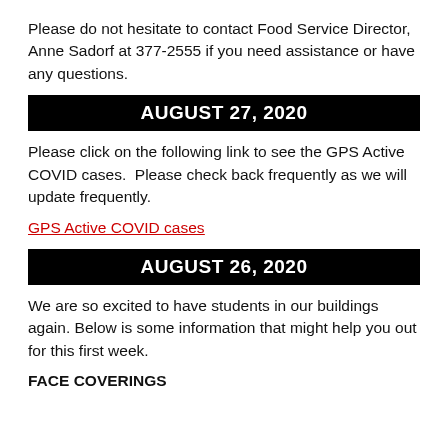Please do not hesitate to contact Food Service Director, Anne Sadorf at 377-2555 if you need assistance or have any questions.
AUGUST 27, 2020
Please click on the following link to see the GPS Active COVID cases.  Please check back frequently as we will update frequently.
GPS Active COVID cases
AUGUST 26, 2020
We are so excited to have students in our buildings again. Below is some information that might help you out for this first week.
FACE COVERINGS